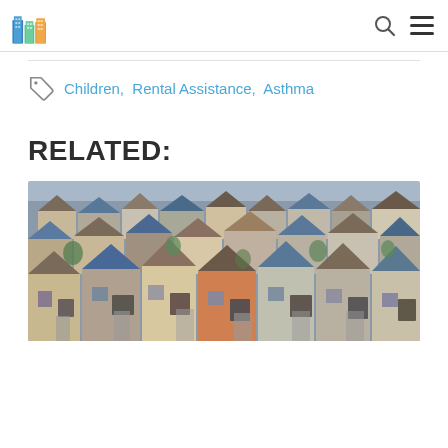Header with logo and navigation icons
Children,  Rental Assistance,  Asthma
RELATED:
[Figure (photo): Aerial view of a dense suburban neighborhood with many two-story houses with various colored roofs and some trees]